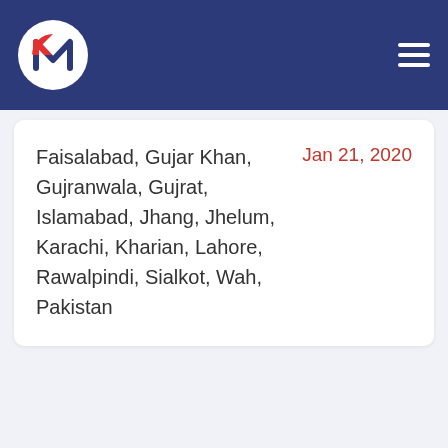Faisalabad, Gujar Khan, Gujranwala, Gujrat, Islamabad, Jhang, Jhelum, Karachi, Kharian, Lahore, Rawalpindi, Sialkot, Wah, Pakistan
Jan 21, 2020